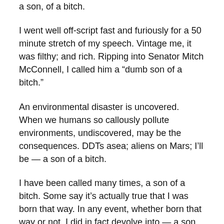a son, of a bitch.
I went well off-script fast and furiously for a 50 minute stretch of my speech. Vintage me, it was filthy; and rich. Ripping into Senator Mitch McConnell, I called him a “dumb son of a bitch.”
An environmental disaster is uncovered. When we humans so callously pollute environments, undiscovered, may be the consequences. DDTs asea; aliens on Mars; I’ll be — a son of a bitch.
I have been called many times, a son of a bitch. Some say it’s actually true that I was born that way. In any event, whether born that way or not, I did in fact devolve into — a son of a bitch.
I have been in fact many times, a son of a bitch. It’s